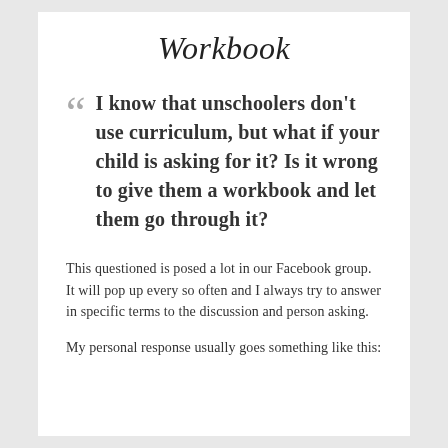Workbook
I know that unschoolers don't use curriculum, but what if your child is asking for it? Is it wrong to give them a workbook and let them go through it?
This questioned is posed a lot in our Facebook group. It will pop up every so often and I always try to answer in specific terms to the discussion and person asking.
My personal response usually goes something like this: